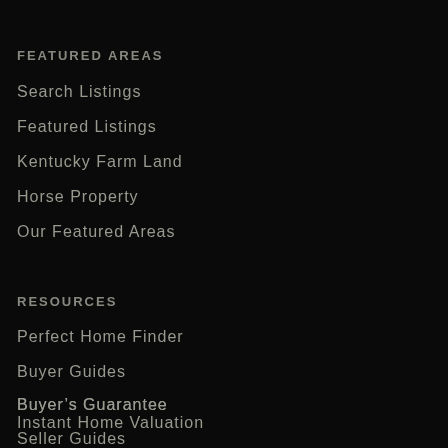FEATURED AREAS
Search Listings
Featured Listings
Kentucky Farm Land
Horse Property
Our Featured Areas
RESOURCES
Perfect Home Finder
Buyer Guides
Buyer’s Guarantee
Instant Home Valuation
Seller Guides